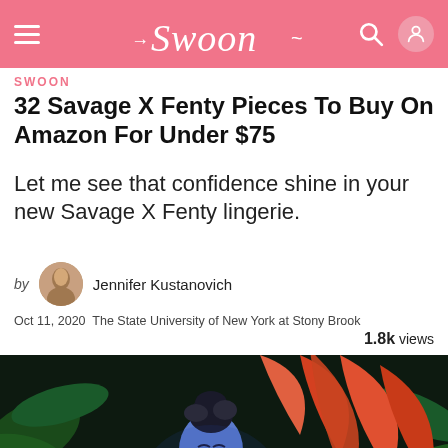Swoon
SWOON
32 Savage X Fenty Pieces To Buy On Amazon For Under $75
Let me see that confidence shine in your new Savage X Fenty lingerie.
by Jennifer Kustanovich
Oct 11, 2020  The State University of New York at Stony Brook   1.8k views
[Figure (photo): A woman with blue/silver body paint or lighting, wearing white lingerie, surrounded by colorful tropical foliage with red and orange large leaves and purple flowers.]